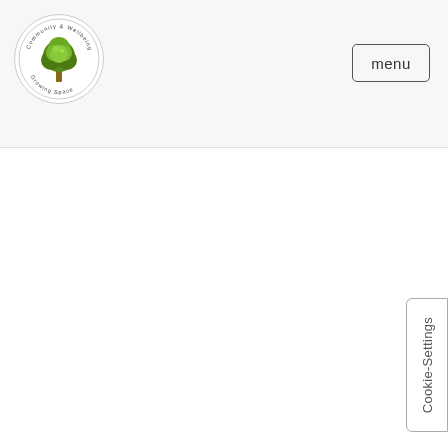Growing Space logo and menu navigation header
[Figure (logo): Circular logo with a green tree illustration and text 'Growing Space' around the border]
menu
Cookie-Settings